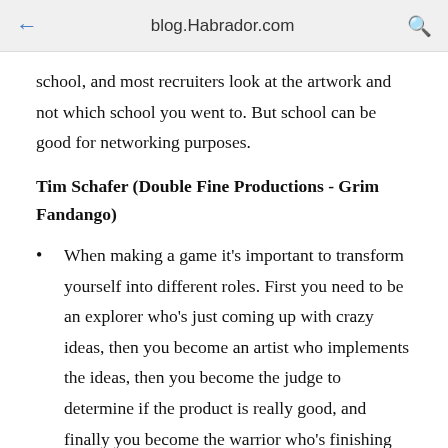blog.Habrador.com
school, and most recruiters look at the artwork and not which school you went to. But school can be good for networking purposes.
Tim Schafer (Double Fine Productions - Grim Fandango)
When making a game it's important to transform yourself into different roles. First you need to be an explorer who's just coming up with crazy ideas, then you become an artist who implements the ideas, then you become the judge to determine if the product is really good, and finally you become the warrior who's finishing the game. It might sound silly, but it actually